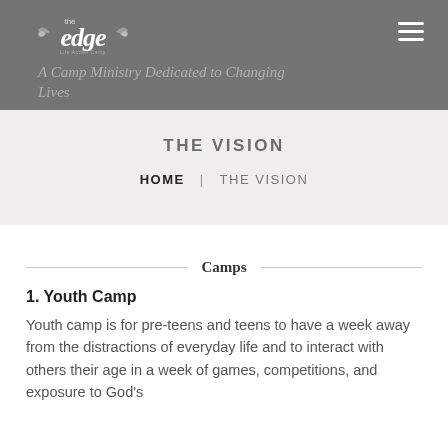[Figure (logo): The Edge camp ministry logo — stylized italic 'edge' text with wing-like flourishes on both sides]
A Camp Ministry Dedicated to Changing Lives
THE VISION
HOME | THE VISION
Camps
1. Youth Camp
Youth camp is for pre-teens and teens to have a week away from the distractions of everyday life and to interact with others their age in a week of games, competitions, and exposure to God's